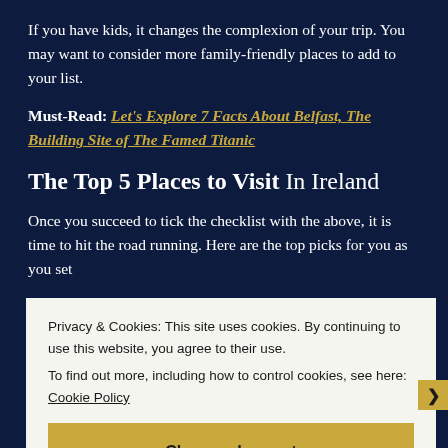If you have kids, it changes the complexion of your trip. You may want to consider more family-friendly places to add to your list.
Must-Read: Let's Explore 7 Facts About Belfast, The Building Site of The Famed Titanic
The Top 5 Places to Visit In Ireland
Once you succeed to tick the checklist with the above, it is time to hit the road running. Here are the top picks for you as you set to...
Privacy & Cookies: This site uses cookies. By continuing to use this website, you agree to their use.
To find out more, including how to control cookies, see here: Cookie Policy
Close and accept